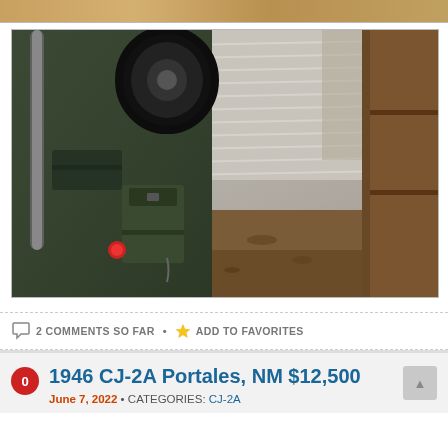[Figure (photo): Partial top of a previous photo showing sandy/wooden background — cropped top strip]
[Figure (photo): Interior view of a vintage Jeep CJ-2A inside a barn/shed. Shows green jeep body with spare tire mounted on back, a green fuel/oil can, metal roll bar, corrugated metal wall/ceiling in background, wooden shelving on right, dirt floor.]
2 COMMENTS SO FAR • ADD TO FAVORITES
1946 CJ-2A Portales, NM $12,500
June 7, 2022 • CATEGORIES: CJ-2A